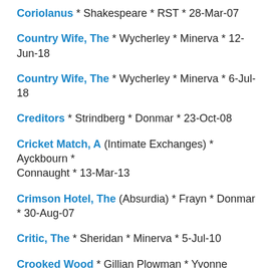Coriolanus * Shakespeare * RST * 28-Mar-07
Country Wife, The * Wycherley * Minerva * 12-Jun-18
Country Wife, The * Wycherley * Minerva * 6-Jul-18
Creditors * Strindberg * Donmar * 23-Oct-08
Cricket Match, A (Intimate Exchanges) * Ayckbourn * Connaught * 13-Mar-13
Crimson Hotel, The (Absurdia) * Frayn * Donmar * 30-Aug-07
Critic, The * Sheridan * Minerva * 5-Jul-10
Crooked Wood * Gillian Plowman * Yvonne Arnaud * 11-Sep-09
Crown Matrimonial * Royce Ryton * Theatre Royal